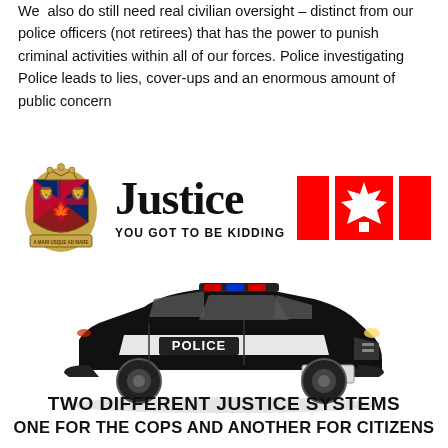We also do still need real civilian oversight – distinct from our police officers (not retirees) that has the power to punish criminal activities within all of our forces. Police investigating Police leads to lies, cover-ups and an enormous amount of public concern
[Figure (infographic): Infographic with Canadian coat of arms on left, large 'Justice YOU GOT TO BE KIDDING' text in center, and Canadian flag elements (red rectangles with maple leaf) on right]
[Figure (illustration): Black and white police car illustration with 'POLICE' written on the side door and license plate]
TWO DIFFERENT JUSTICE SYSTEMS ONE FOR THE COPS AND ANOTHER FOR CITIZENS